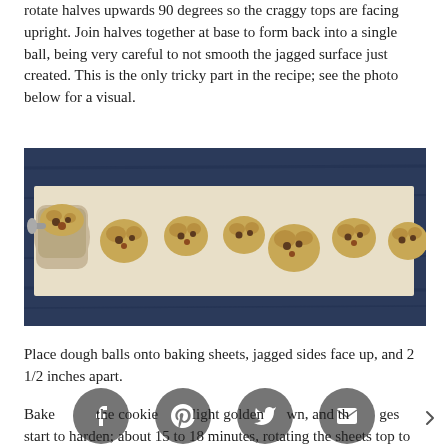rotate halves upwards 90 degrees so the craggy tops are facing upright. Join halves together at base to form back into a single ball, being very careful to not smooth the jagged surface just created. This is the only tricky part in the recipe; see the photo below for a visual.
[Figure (photo): Overhead photo of cookie dough balls on parchment paper on a dark blue wooden surface, with a metal scoop on the left containing dough, and six dough balls arranged to the right.]
Place dough balls onto baking sheets, jagged sides face up, and 2 1/2 inches apart.
[Figure (infographic): Social media sharing icons: Facebook, Pinterest, Twitter, Email, and a right chevron arrow.]
Bake the cookies until light golden brown, and the edges start to harden; about 15 to 18 minutes, rotating the sheets top to